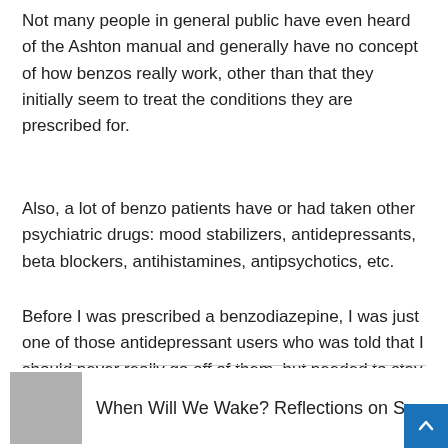Not many people in general public have even heard of the Ashton manual and generally have no concept of how benzos really work, other than that they initially seem to treat the conditions they are prescribed for.
Also, a lot of benzo patients have or had taken other psychiatric drugs: mood stabilizers, antidepressants, beta blockers, antihistamines, antipsychotics, etc.
Before I was prescribed a benzodiazepine, I was just one of those antidepressant users who was told that I should never really go off of them, but needed to stay on a maintenance dose (typically 1/2 of the normal dose) to prevent a recurrence of another depressive episode. That's what had been drilled into my head many, many times.
When Will We Wake? Reflections on Suici...